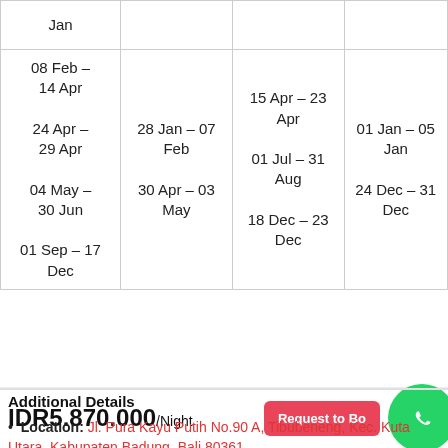| Jan |  |  |  |
| 08 Feb – 14 Apr
24 Apr – 29 Apr
04 May – 30 Jun
01 Sep – 17 Dec | 28 Jan – 07 Feb
30 Apr – 03 May | 15 Apr – 23 Apr
01 Jul – 31 Aug
18 Dec – 23 Dec | 01 Jan – 05 Jan
24 Dec – 31 Dec |
Additional Details
Location: Jl. Pura Kayu Putih No.90 A, Tibubeneng, Kec. Kuta Utara, Kabupaten Badung, Bali 80361
IDR5.870.000/Night  Request to Book